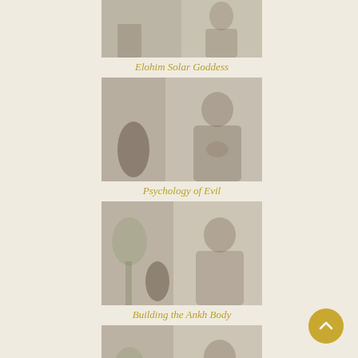[Figure (photo): Thumbnail photo of a woman, partially visible, seated indoors with decorative items in background — Elohim Solar Goddess video thumbnail]
Elohim Solar Goddess
[Figure (photo): Thumbnail photo of a woman with hands clasped to chest, seated indoors with dark vase and flowers in background — Psychology of Evil video thumbnail]
Psychology of Evil
[Figure (photo): Thumbnail photo of a woman smiling, seated indoors with plants and decorative items in background — Building the Ankh Body video thumbnail]
Building the Ankh Body
[Figure (photo): Thumbnail photo of a woman with hands together, seated indoors — fourth video thumbnail, title not fully visible]